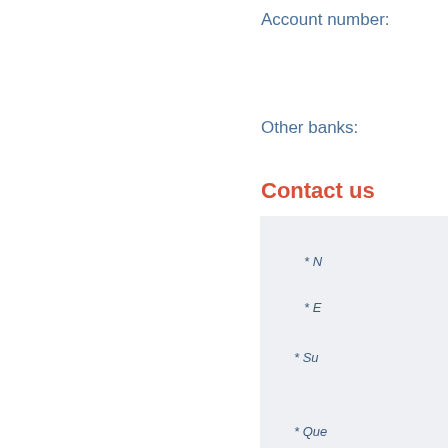Account number:
Other banks:
Contact us
* N
* E
* Su
* Que